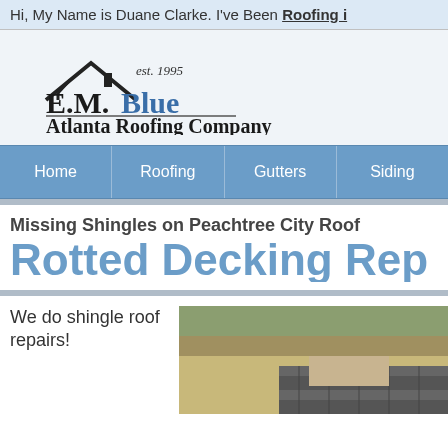Hi, My Name is Duane Clarke. I've Been Roofing i...
[Figure (logo): E.M. Blue Atlanta Roofing Company logo with rooftop graphic and 'est. 1995' text]
Home | Roofing | Gutters | Siding
Missing Shingles on Peachtree City Roof
Rotted Decking Rep...
We do shingle roof repairs!
[Figure (photo): Photo of a roof with shingles, showing damaged or missing shingles area]